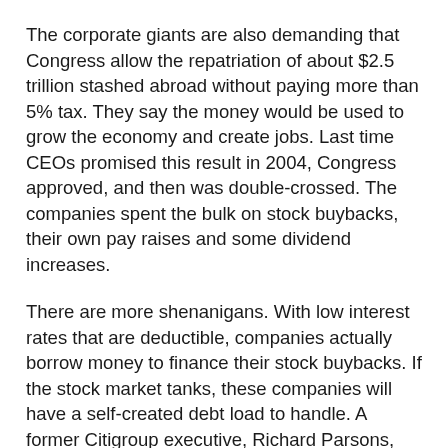The corporate giants are also demanding that Congress allow the repatriation of about $2.5 trillion stashed abroad without paying more than 5% tax. They say the money would be used to grow the economy and create jobs. Last time CEOs promised this result in 2004, Congress approved, and then was double-crossed. The companies spent the bulk on stock buybacks, their own pay raises and some dividend increases.
There are more shenanigans. With low interest rates that are deductible, companies actually borrow money to finance their stock buybacks. If the stock market tanks, these companies will have a self-created debt load to handle. A former Citigroup executive, Richard Parsons, has expressed worry about a “massively manipulated” stock market which “scares the crap” out of him.
Banks that pay you near zero interest on your savings announced on June 28, 2017 the biggest single buyback in history – a $92.8 billion extraction. Drug companies who say their sky-high drug prices are needed to fund R&D. But between 2006 and 2017, 18 drug company